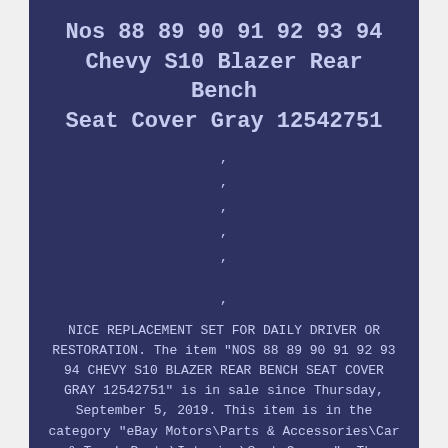Nos 88 89 90 91 92 93 94 Chevy S10 Blazer Rear Bench Seat Cover Gray 12542751
· · · · · ·
NICE REPLACEMENT SET FOR DAILY DRIVER OR RESTORATION. The item "NOS 88 89 90 91 92 93 94 CHEVY S10 BLAZER REAR BENCH SEAT COVER GRAY 12542751" is in sale since Thursday, September 5, 2019. This item is in the category "eBay Motors\Parts & Accessories\Car & Truck Parts\Interior\Seat Covers". The seller is "simms454gfv" and is located in Ballston Spa, New York. This item can be shipped to United States, Canada, United Kingdom, Denmark, Romania, Slovakia, Bulgaria, Czech